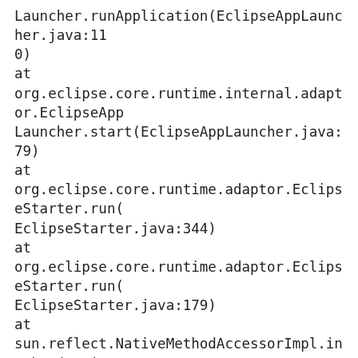Launcher.runApplication(EclipseAppLauncher.java:110)
at org.eclipse.core.runtime.internal.adaptor.EclipseAppLauncher.start(EclipseAppLauncher.java:79)
at org.eclipse.core.runtime.adaptor.EclipseStarter.run(EclipseStarter.java:344)
at org.eclipse.core.runtime.adaptor.EclipseStarter.run(EclipseStarter.java:179)
at sun.reflect.NativeMethodAccessorImpl.invoke0(Native Method)
at sun.reflect.NativeMethodAccessorImpl.invoke(Unknown Source)
at sun.reflect.DelegatingMethodAccessorImpl.invoke(Unknown Source)
at java.lang.reflect.Method.invoke(Unknown Source)
at org.eclipse.equinox.launcher.Main.invokeFramework(Main.java:622)